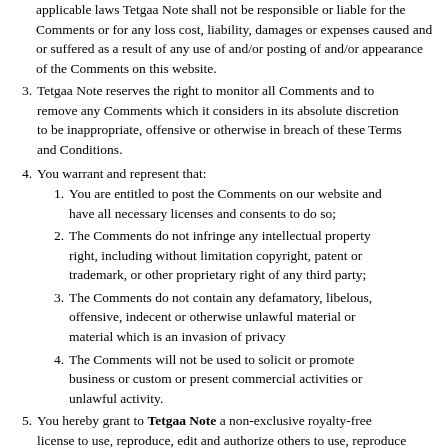applicable laws Tetgaa Note shall not be responsible or liable for the Comments or for any loss cost, liability, damages or expenses caused and or suffered as a result of any use of and/or posting of and/or appearance of the Comments on this website.
3. Tetgaa Note reserves the right to monitor all Comments and to remove any Comments which it considers in its absolute discretion to be inappropriate, offensive or otherwise in breach of these Terms and Conditions.
4. You warrant and represent that:
1. You are entitled to post the Comments on our website and have all necessary licenses and consents to do so;
2. The Comments do not infringe any intellectual property right, including without limitation copyright, patent or trademark, or other proprietary right of any third party;
3. The Comments do not contain any defamatory, libelous, offensive, indecent or otherwise unlawful material or material which is an invasion of privacy
4. The Comments will not be used to solicit or promote business or custom or present commercial activities or unlawful activity.
5. You hereby grant to Tetgaa Note a non-exclusive royalty-free license to use, reproduce, edit and authorize others to use, reproduce and edit any of your Comments in any and all forms, formats or media